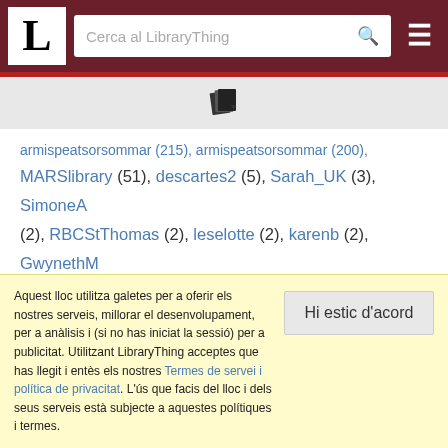LibraryThing — Cerca al LibraryThing
[Figure (logo): LibraryThing logo icon — overlapping book pages with a download arrow]
...armispeatsorsommar (215), armispeatsorsommar (200),
MARSlibrary (51), descartes2 (5), Sarah_UK (3), SimoneA (2), RBCStThomas (2), leselotte (2), karenb (2), GwynethM (1), PuddinTame (1), malloyd (1), scott_beeler (1), waltzmn (1), dulcimerplayer (1), gilroy (1), fdholt (1), TheLittlePhrase (1)
Aquest lloc utilitza galetes per a oferir els nostres serveis, millorar el desenvolupament, per a anàlisis i (si no has iniciat la sessió) per a publicitat. Utilitzant LibraryThing acceptes que has llegit i entès els nostres Termes de servei i política de privacitat. L'ús que facis del lloc i dels seus serveis està subjecte a aquestes polítiques i termes.